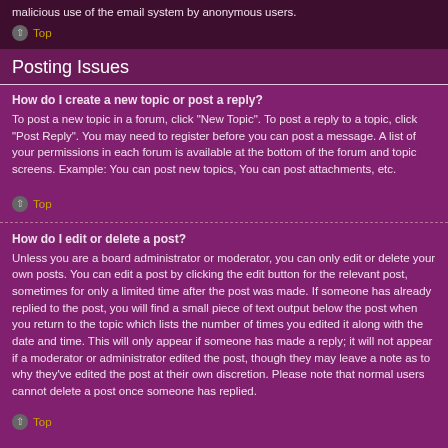malicious use of the email system by anonymous users.
Top
Posting Issues
How do I create a new topic or post a reply?
To post a new topic in a forum, click "New Topic". To post a reply to a topic, click "Post Reply". You may need to register before you can post a message. A list of your permissions in each forum is available at the bottom of the forum and topic screens. Example: You can post new topics, You can post attachments, etc.
Top
How do I edit or delete a post?
Unless you are a board administrator or moderator, you can only edit or delete your own posts. You can edit a post by clicking the edit button for the relevant post, sometimes for only a limited time after the post was made. If someone has already replied to the post, you will find a small piece of text output below the post when you return to the topic which lists the number of times you edited it along with the date and time. This will only appear if someone has made a reply; it will not appear if a moderator or administrator edited the post, though they may leave a note as to why they've edited the post at their own discretion. Please note that normal users cannot delete a post once someone has replied.
Top